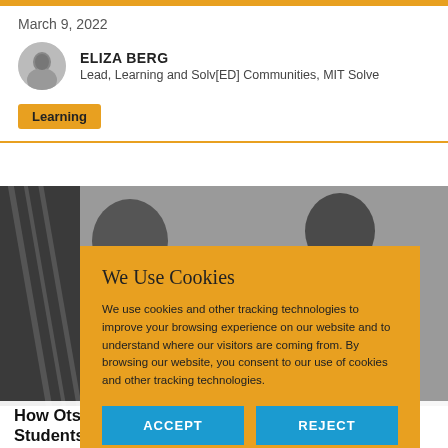March 9, 2022
ELIZA BERG
Lead, Learning and Solv[ED] Communities, MIT Solve
Learning
[Figure (photo): Photo of two people partially visible behind a cookie consent dialog overlay]
We Use Cookies
We use cookies and other tracking technologies to improve your browsing experience on our website and to understand where our visitors are coming from. By browsing our website, you consent to our use of cookies and other tracking technologies.
ACCEPT
REJECT
How Otsimo Is Using Assistive Technology To Help Students With Autism Thrive In The...